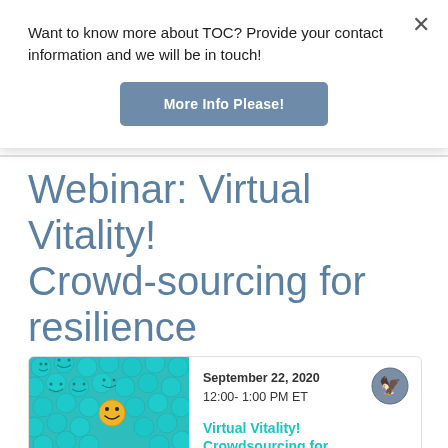Want to know more about TOC? Provide your contact information and we will be in touch!
More Info Please!
Webinar: Virtual Vitality! Crowd-sourcing for resilience
CHRIS / SEPTEMBER 22, 2020 / WEBINAR
[Figure (photo): A group of blue smiley-face balls with one yellow smiley-face ball standing out in the crowd.]
September 22, 2020
12:00- 1:00 PM ET
Virtual Vitality! Crowdsourcing for Resilience